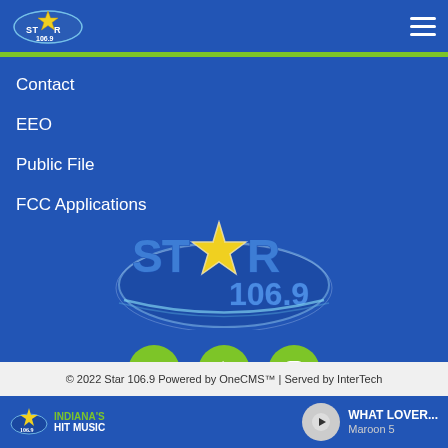[Figure (logo): Star 106.9 radio station logo in top-left header]
[Figure (logo): Hamburger menu icon top-right]
Contact
EEO
Public File
FCC Applications
[Figure (logo): Star 106.9 large centered logo with star and swoosh on blue background]
[Figure (infographic): Facebook, Twitter, Instagram social media icons as green circles]
© 2022 Star 106.9 Powered by OneCMS™ | Served by InterTech
INDIANA'S HIT MUSIC — WHAT LOVER... Maroon 5